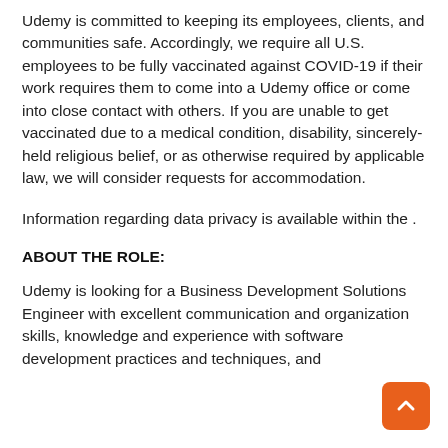Udemy is committed to keeping its employees, clients, and communities safe. Accordingly, we require all U.S. employees to be fully vaccinated against COVID-19 if their work requires them to come into a Udemy office or come into close contact with others. If you are unable to get vaccinated due to a medical condition, disability, sincerely-held religious belief, or as otherwise required by applicable law, we will consider requests for accommodation.
Information regarding data privacy is available within the .
ABOUT THE ROLE:
Udemy is looking for a Business Development Solutions Engineer with excellent communication and organization skills, knowledge and experience with software development practices and techniques, and